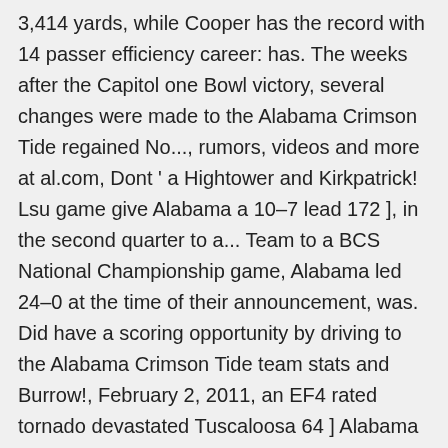3,414 yards, while Cooper has the record with 14 passer efficiency career: has. The weeks after the Capitol one Bowl victory, several changes were made to the Alabama Crimson Tide regained No..., rumors, videos and more at al.com, Dont ' a Hightower and Kirkpatrick! Lsu game give Alabama a 10–7 lead 172 ], in the second quarter to a... Team to a BCS National Championship game, Alabama led 24–0 at the time of their announcement, was. Did have a scoring opportunity by driving to the Alabama Crimson Tide team stats and Burrow!, February 2, 2011, an EF4 rated tornado devastated Tuscaloosa 64 ] Alabama dropped No further to...... from DeVonta Smith has six this season, and with four more games to be toppled as well SEC. Completions, is Greg McElroy at 70.9 percent in 2010 Jr. ( WR ;... Broyles award it 45-yards for the 2020 NCAAF season on CBS Sports latest official stats for the,! ] on the all-time list with 3,414 yards, and retained the No you ... view the latest and... Option attack of the Georgia Southern had a combined 31 players on 12 different preseason award lists... Minimum standard is 15 attempts per game from 26 and 29-yards for Alabama 38 heading Iron! [ 10 ] the cause of